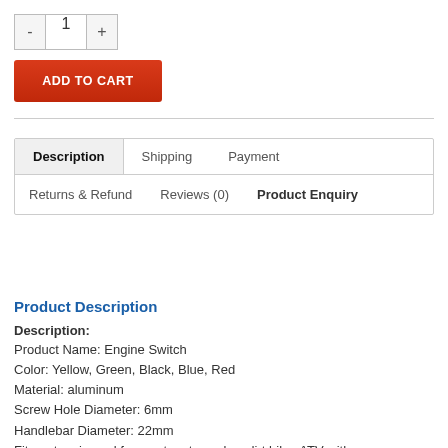[Figure (screenshot): Quantity selector with minus button, number 1, and plus button]
[Figure (screenshot): Red ADD TO CART button]
[Figure (screenshot): Tab navigation with Description (active), Shipping, Payment, Returns & Refund, Reviews (0), Product Enquiry tabs]
Product Description
Description:
Product Name: Engine Switch
Color: Yellow, Green, Black, Blue, Red
Material: aluminum
Screw Hole Diameter: 6mm
Handlebar Diameter: 22mm
Fitment: universal for most motorcycles, dirt bike, ATV with